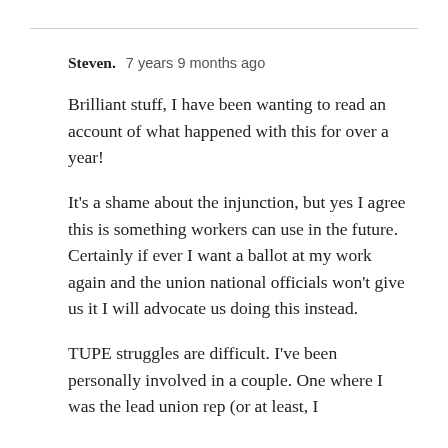Steven.   7 years 9 months ago
Brilliant stuff, I have been wanting to read an account of what happened with this for over a year!
It's a shame about the injunction, but yes I agree this is something workers can use in the future. Certainly if ever I want a ballot at my work again and the union national officials won't give us it I will advocate us doing this instead.
TUPE struggles are difficult. I've been personally involved in a couple. One where I was the lead union rep (or at least, I